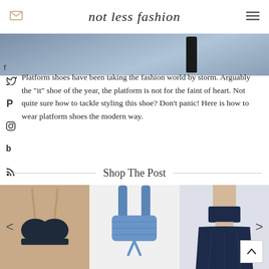not less fashion
[Figure (photo): Partial view of street/pavement with a dark bottle visible, cropped photo strip with facebook icon overlay]
Platform shoes have been taking the fashion world by storm. Arguably the "it" shoe of the year, the platform is not for the faint of heart. Not quite sure how to tackle styling this shoe? Don't panic! Here is how to wear platform shoes the modern way.
Shop The Post
[Figure (photo): Product carousel showing three fashion items: a dark navy strapless bralette on beige background, a denim structured crop top, and a navy two-piece set (strapless top and full skirt)]